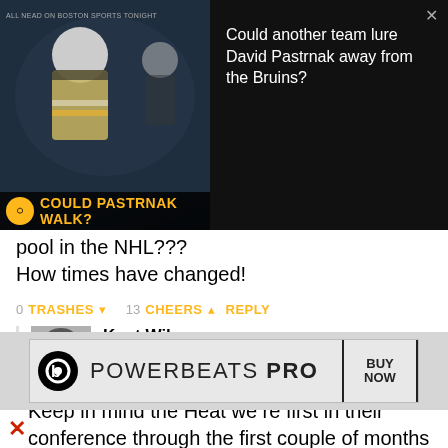[Figure (screenshot): Video overlay showing a Boston Bruins hockey player, with banner text 'COULD PASTRNAK WALK?']
Could another team lure David Pastrnak away from the Bruins?
pool in the NHL???
How times have changed!
0 TRASHES  13 CHEERS  REPLY
[Figure (photo): Avatar photo of Kent Wilson, a man with glasses and a beard wearing a suit]
Kent Wilson
9 YEARS AGO
Keep in mind the Heat we re first in their conference through the first couple of months last year as well.
[Figure (screenshot): Advertisement for Powerbeats Pro with BUY NOW button]